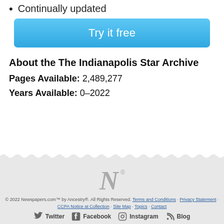Continually updated
[Figure (other): Blue 'Try it free' button]
About the The Indianapolis Star Archive
Pages Available:  2,489,277
Years Available:  0–2022
[Figure (logo): Newspapers.com stylized N logo in gray]
© 2022 Newspapers.com™ by Ancestry®. All Rights Reserved. Terms and Conditions · Privacy Statement · CCPA Notice at Collection · Site Map · Topics · Contact
Twitter · Facebook · Instagram · Blog